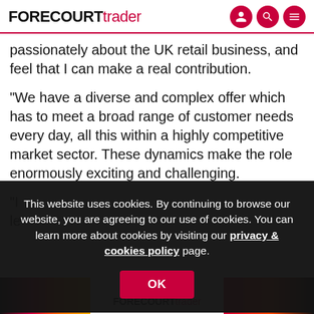FORECOURT trader
passionately about the UK retail business, and feel that I can make a real contribution.
"We have a diverse and complex offer which has to meet a broad range of customer needs every day, all this within a highly competitive market sector. These dynamics make the role enormously exciting and challenging.
"I ... le...
This website uses cookies. By continuing to browse our website, you are agreeing to our use of cookies. You can learn more about cookies by visiting our privacy & cookies policy page.
[Figure (infographic): Bottom banner with Forecourt Trader logo and colourful gradient strips, with Booker Retail Partners text]